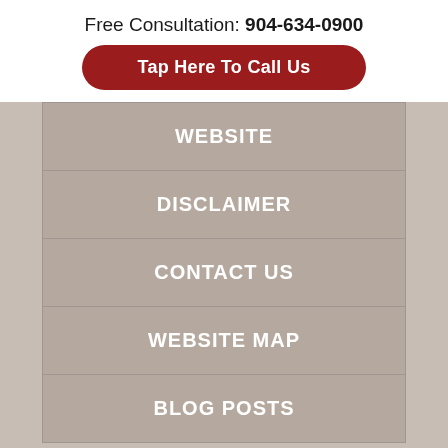Free Consultation: 904-634-0900
Tap Here To Call Us
WEBSITE
DISCLAIMER
CONTACT US
WEBSITE MAP
BLOG POSTS
This site is protected by reCAPTCHA and the Google